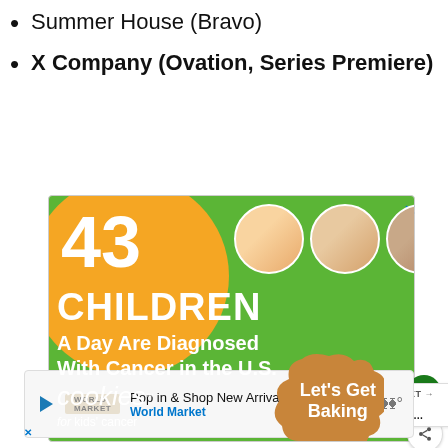Summer House (Bravo)
X Company (Ovation, Series Premiere)
[Figure (photo): Advertisement for Cookies for Kids' Cancer showing '43 CHILDREN A Day Are Diagnosed With Cancer in the U.S.' with children's photos and cookies imagery, 'Let's Get Baking' call to action]
[Figure (infographic): Bottom advertisement: 'Pop in & Shop New Arrivals World Market' with play button, logo, navigation arrow icon, and audio bars icon]